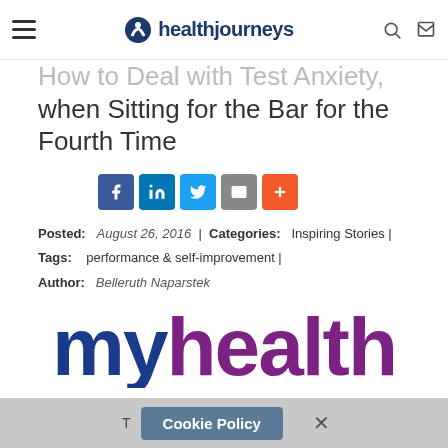healthjourneys
How to Deal with Test Anxiety when Sitting for the Bar for the Fourth Time
[Figure (infographic): Social share buttons: Facebook, LinkedIn, Twitter, Email, More (+)]
Posted: August 26, 2016 | Categories: Inspiring Stories | Tags: performance & self-improvement | Author: Belleruth Naparstek
[Figure (logo): myhealth logo in blue and purple large text]
Cookie Policy